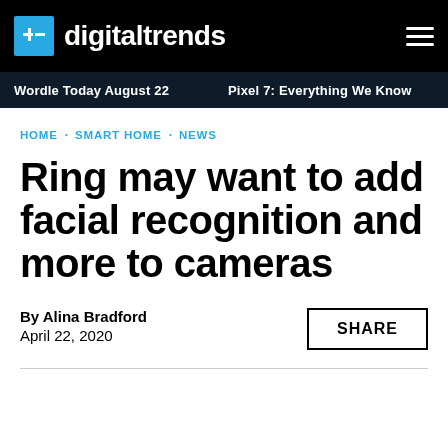digitaltrends
Wordle Today August 22 · Pixel 7: Everything We Know · Goo
HOME · SMART HOME · NEWS
Ring may want to add facial recognition and more to cameras
By Alina Bradford
April 22, 2020
SHARE